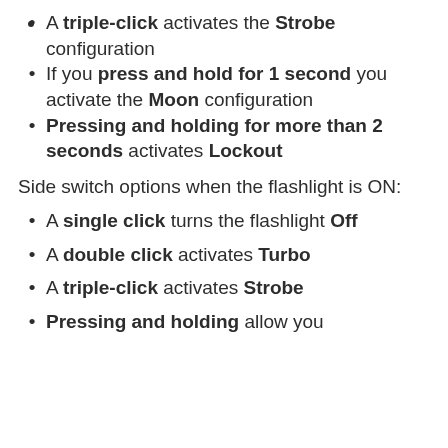A triple-click activates the Strobe configuration
If you press and hold for 1 second you activate the Moon configuration
Pressing and holding for more than 2 seconds activates Lockout
Side switch options when the flashlight is ON:
A single click turns the flashlight Off
A double click activates Turbo
A triple-click activates Strobe
Pressing and holding allow you